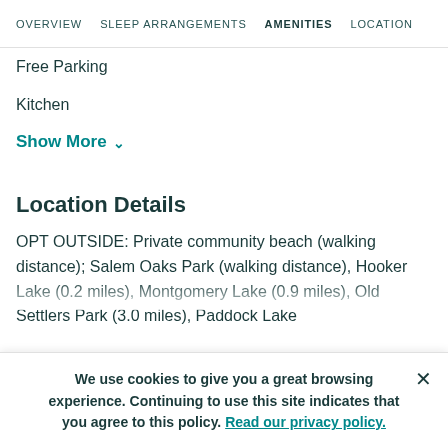OVERVIEW  SLEEP ARRANGEMENTS  AMENITIES  LOCATION
Free Parking
Kitchen
Show More ∨
Location Details
OPT OUTSIDE: Private community beach (walking distance); Salem Oaks Park (walking distance), Hooker Lake (0.2 miles), Montgomery Lake (0.9 miles), Old Settlers Park (3.0 miles), Paddock Lake
We use cookies to give you a great browsing experience. Continuing to use this site indicates that you agree to this policy. Read our privacy policy.